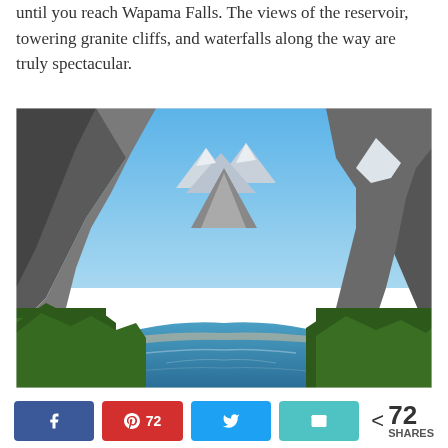until you reach Wapama Falls. The views of the reservoir, towering granite cliffs, and waterfalls along the way are truly spectacular.
[Figure (photo): Aerial view of a blue reservoir surrounded by towering granite cliffs with snow-capped mountains in the background and green trees in the foreground — likely Hetch Hetchy Reservoir in Yosemite National Park.]
< 72 SHARES [Facebook share button] [Pinterest share button: 72] [Twitter share button] [Email share button]